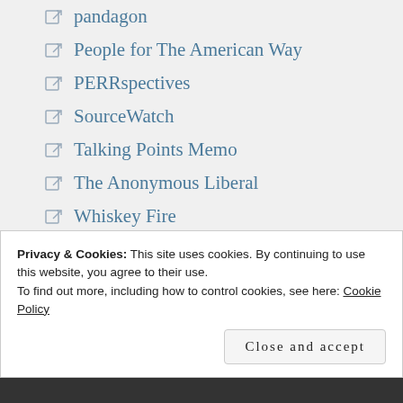pandagon
People for The American Way
PERRspectives
SourceWatch
Talking Points Memo
The Anonymous Liberal
Whiskey Fire
Wired
WordPress.com
Privacy & Cookies: This site uses cookies. By continuing to use this website, you agree to their use.
To find out more, including how to control cookies, see here: Cookie Policy
Close and accept